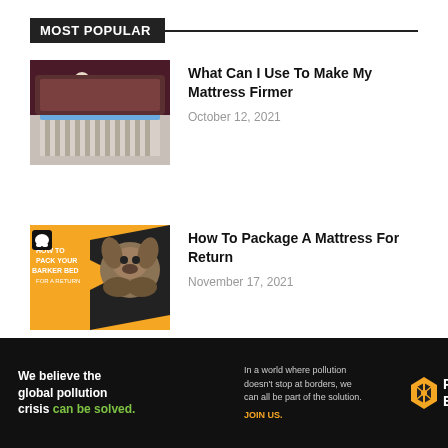MOST POPULAR
[Figure (photo): Person adjusting a mattress topper on a bed in a dimly lit bedroom]
What Can I Use To Make My Mattress Firmer
October 12, 2021
[Figure (photo): Orange and black graphic showing how to pack a barker bed for a return, with a German shepherd dog]
How To Package A Mattress For Return
November 17, 2021
Load more
[Figure (infographic): Pure Earth advertisement banner: 'We believe the global pollution crisis can be solved. In a world where pollution doesn't stop at borders, we can all be part of the solution. JOIN US. PURE EARTH']